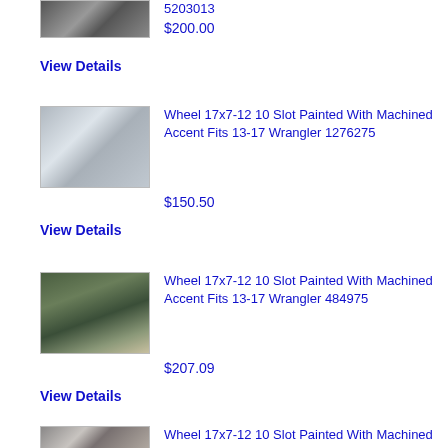[Figure (photo): Partial view of a tire/wheel at top of page]
5203013
$200.00
View Details
[Figure (photo): Silver alloy wheel with 10-slot spoke design, painted with machined accent]
Wheel 17x7-12 10 Slot Painted With Machined Accent Fits 13-17 Wrangler 1276275
$150.50
View Details
[Figure (photo): Dark green Jeep Wrangler parked on light gravel/dirt area]
Wheel 17x7-12 10 Slot Painted With Machined Accent Fits 13-17 Wrangler 484975
$207.09
View Details
[Figure (photo): Partial view of a tire/wheel at bottom of page]
Wheel 17x7-12 10 Slot Painted With Machined Accent Fits 13-17